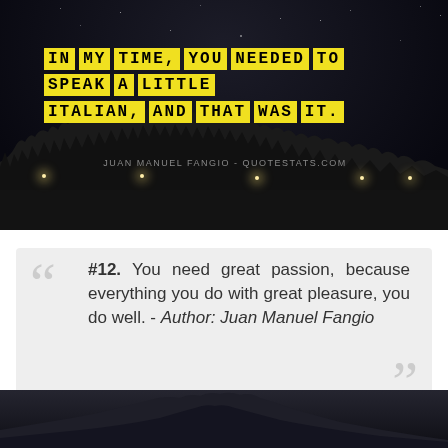[Figure (photo): Night sky photograph with dark treeline silhouette, city lights in distance, used as background for quote overlay]
IN MY TIME, YOU NEEDED TO SPEAK A LITTLE ITALIAN, AND THAT WAS IT.
JUAN MANUEL FANGIO - QUOTESTATS.COM
#12. You need great passion, because everything you do with great pleasure, you do well. - Author: Juan Manuel Fangio
[Figure (photo): Partial night photo of mountains with dark sky at bottom of page]